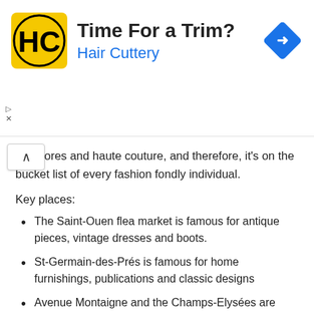[Figure (infographic): Advertisement banner for Hair Cuttery with yellow HC logo, title 'Time For a Trim?', subtitle 'Hair Cuttery' in blue, and a blue navigation diamond icon on the right.]
ner stores and haute couture, and therefore, it's on the bucket list of every fashion fondly individual.
Key places:
The Saint-Ouen flea market is famous for antique pieces, vintage dresses and boots.
St-Germain-des-Prés is famous for home furnishings, publications and classic designs
Avenue Montaigne and the Champs-Elysées are famous for designer shopping
Boulevard Haussmann and the Grands Boulevards are famous for luxury shops
Champs-Elysees is famous for luxury shops